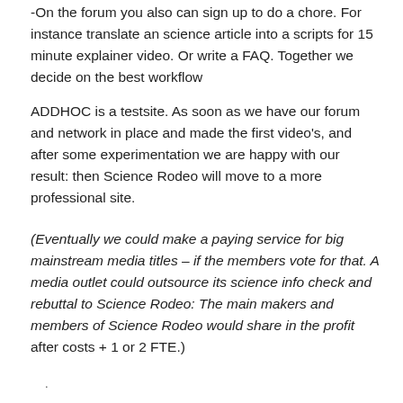-On the forum you also can sign up to do a chore. For instance translate an science article into a scripts for 15 minute explainer video. Or write a FAQ. Together we decide on the best workflow
ADDHOC is a testsite. As soon as we have our forum and network in place and made the first video’s, and after some experimentation we are happy with our result: then Science Rodeo will move to a more professional site.
(Eventually we could make a paying service for big mainstream media titles – if the members vote for that. A media outlet could outsource its science info check and rebuttal to Science Rodeo: The main makers and members of Science Rodeo would share in the profit after costs + 1 or 2 FTE.)
.